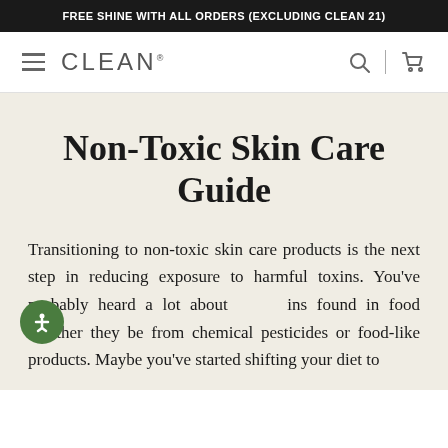FREE SHINE WITH ALL ORDERS (EXCLUDING CLEAN 21)
[Figure (logo): CLEAN brand logo with hamburger menu icon on left, search and cart icons on right]
Non-Toxic Skin Care Guide
Transitioning to non-toxic skin care products is the next step in reducing exposure to harmful toxins. You've probably heard a lot about toxins found in food whether they be from chemical pesticides or food-like products. Maybe you've started shifting your diet to